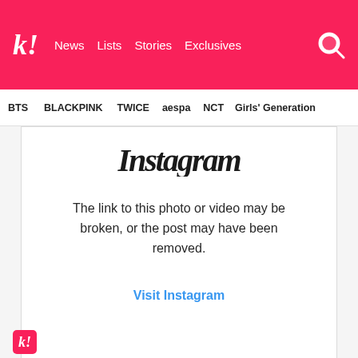k! News  Lists  Stories  Exclusives
BTS  BLACKPINK  TWICE  aespa  NCT  Girls' Generation
[Figure (screenshot): Instagram error state showing italic 'Instagram' script logo text partially cut off, with error message: The link to this photo or video may be broken, or the post may have been removed. Visit Instagram link in blue.]
The link to this photo or video may be broken, or the post may have been removed.
Visit Instagram